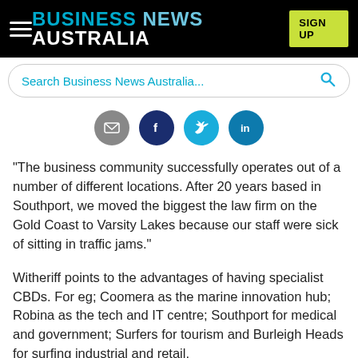BUSINESS NEWS AUSTRALIA
[Figure (screenshot): Search bar with placeholder text 'Search Business News Australia...' and a blue search icon]
[Figure (infographic): Four social sharing circular icons: email (grey), Facebook (dark blue), Twitter (light blue), LinkedIn (blue)]
“The business community successfully operates out of a number of different locations. After 20 years based in Southport, we moved the biggest the law firm on the Gold Coast to Varsity Lakes because our staff were sick of sitting in traffic jams.”
Witheriff points to the advantages of having specialist CBDs. For eg; Coomera as the marine innovation hub; Robina as the tech and IT centre; Southport for medical and government; Surfers for tourism and Burleigh Heads for surfing industrial and retail.
Murray d’Almeida is the chair of Connecting Southern Gold Coast an initiative set up to help local businesses and the local...